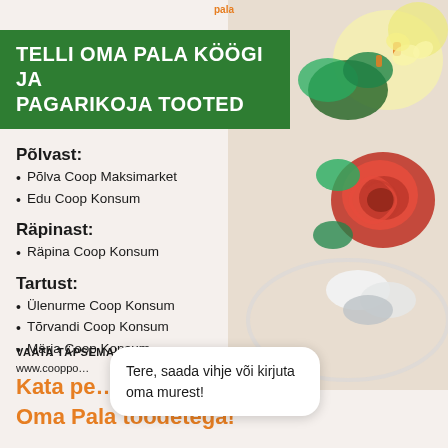TELLI OMA PALA KÖÖGI JA PAGARIKOJA TOOTED
Põlvast:
Põlva Coop Maksimarket
Edu Coop Konsum
Räpinast:
Räpina Coop Konsum
Tartust:
Ülenurme Coop Konsum
Tõrvandi Coop Konsum
Märja Coop Konsum
VAATA TÄPSEMALT
www.cooppo…
Kata pe…
Oma Pala toodetega!
[Figure (photo): Decorative food arrangement with vegetables including a tomato rose, parsley, onion rolls, and creamy deviled egg flowers on a plate]
Tere, saada vihje või kirjuta oma murest!